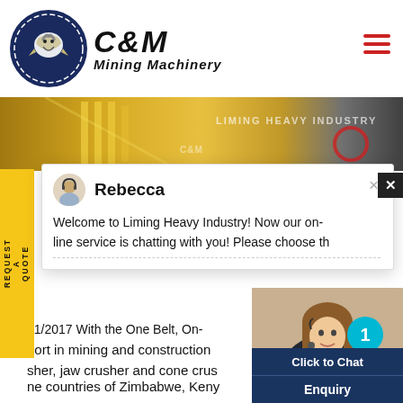[Figure (logo): C&M Mining Machinery logo with eagle/gear icon in dark blue circle, bold italic C&M text and Mining Machinery subtitle]
[Figure (photo): Hero banner image showing yellow industrial mining machinery with C&M Heavy Industry text overlay]
REQUEST A QUOTE
[Figure (screenshot): Live chat popup with avatar of Rebecca, showing welcome message: Welcome to Liming Heavy Industry! Now our on-line service is chatting with you! Please choose th...]
21/2017  With the  One Belt, On...
port in mining and construction
sher, jaw crusher and cone crus
ne countries of Zimbabwe, Keny
Mozambique, South Africa, Australi
Nigeria etcOne of our customers w
aggregate crushing plant in Philipp
[Figure (photo): Customer service agent photo - woman wearing headset smiling, with teal badge showing number 1, Click to Chat button and Enquiry button below]